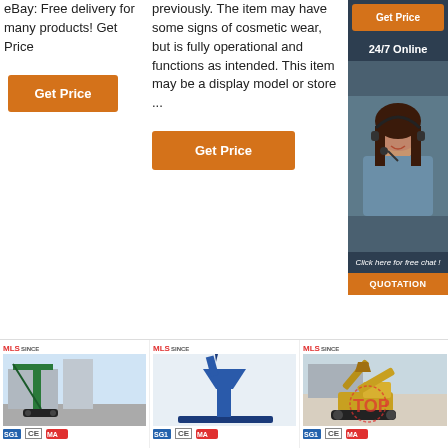eBay: Free delivery for many products! Get Price
[Figure (other): Orange Get Price button on left column]
previously. The item may have some signs of cosmetic wear, but is fully operational and functions as intended. This item may be a display model or store ...
[Figure (other): Orange Get Price button top right]
[Figure (other): Right panel: 24/7 Online banner, customer service agent photo, Click here for free chat, QUOTATION button]
[Figure (other): Orange Get Price button center]
[Figure (photo): Product image: green crawler crane/excavator on street, with MLS logo, CE and MA badges]
[Figure (photo): Product image: blue screw pump/soil sampler machine, with MLS logo, CE and MA badges]
[Figure (photo): Product image: yellow mini excavator with TOP watermark, MLS logo, CE and MA badges]